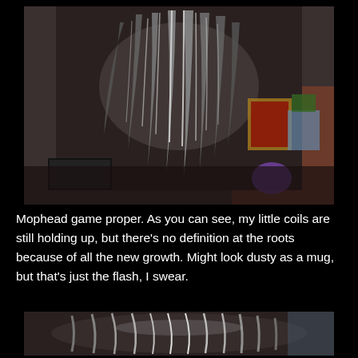[Figure (photo): Top-down view of a person's head showing coily/dreaded hair with new growth at the roots, taken with flash. Background shows a desk with a keyboard, photo frame, and small plant.]
Mophead game proper. As you can see, my little coils are still holding up, but there's no definition at the roots because of all the new growth. Might look dusty as a mug, but that's just the flash, I swear.
[Figure (photo): Close-up view of coily/dreaded hair showing texture and new growth, taken with flash.]